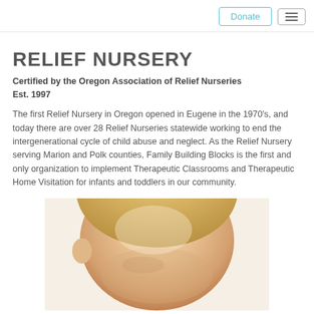Donate | ☰
RELIEF NURSERY
Certified by the Oregon Association of Relief Nurseries
Est. 1997
The first Relief Nursery in Oregon opened in Eugene in the 1970's, and today there are over 28 Relief Nurseries statewide working to end the intergenerational cycle of child abuse and neglect. As the Relief Nursery serving Marion and Polk counties, Family Building Blocks is the first and only organization to implement Therapeutic Classrooms and Therapeutic Home Visitation for infants and toddlers in our community.
[Figure (photo): Close-up photo of a young blonde toddler/baby looking downward, cropped to show top of head and face]